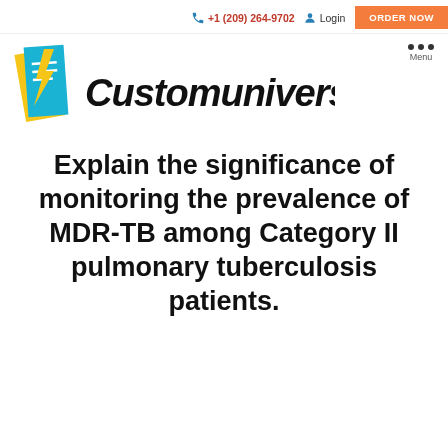+1 (209) 264-9702   Login   ORDER NOW
[Figure (logo): Customuniversitypapers logo with teal and yellow document icon and bold black italic text reading 'Customuniversitypapers']
Explain the significance of monitoring the prevalence of MDR-TB among Category II pulmonary tuberculosis patients.